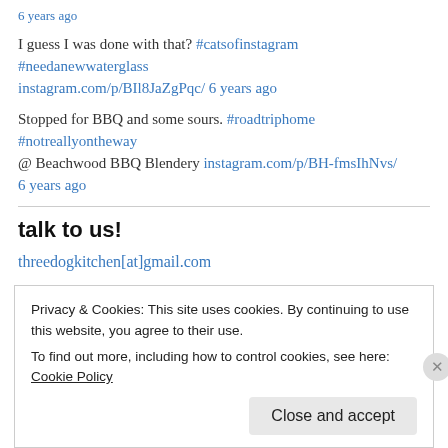6 years ago
I guess I was done with that? #catsofinstagram #needanewwaterglass instagram.com/p/BIl8JaZgPqc/ 6 years ago
Stopped for BBQ and some sours. #roadtriphome #notreallyontheway @ Beachwood BBQ Blendery instagram.com/p/BH-fmsIhNvs/ 6 years ago
talk to us!
threedogkitchen[at]gmail.com
Privacy & Cookies: This site uses cookies. By continuing to use this website, you agree to their use.
To find out more, including how to control cookies, see here: Cookie Policy